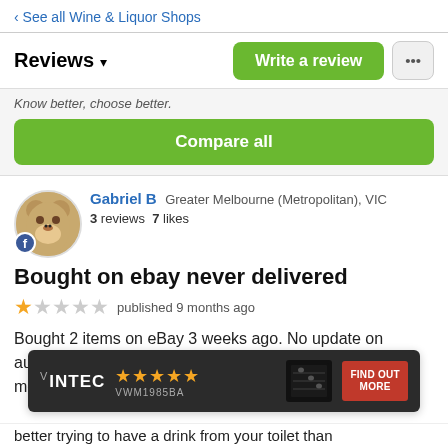‹ See all Wine & Liquor Shops
Reviews ▼
Know better, choose better.
Compare all
Gabriel B  Greater Melbourne (Metropolitan), VIC
3 reviews  7 likes
Bought on ebay never delivered
★☆☆☆☆  published 9 months ago
Bought 2 items on eBay 3 weeks ago. No update on auspost for 18 days. Boozebud just sends robotic messages and doesn't respond to eBay
[Figure (infographic): Vintec VWM1985BA wine fridge advertisement banner with 5 gold stars, dark background, and red FIND OUT MORE button]
better trying to have a drink from your toilet than